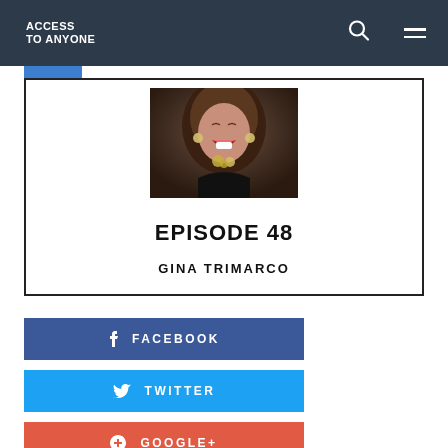ACCESS TO ANYONE
[Figure (photo): Photo of Gina Trimarco laughing with mouth open wide, wearing earrings and necklace, dark background]
EPISODE 48
GINA TRIMARCO
FACEBOOK
TWITTER
GOOGLE+